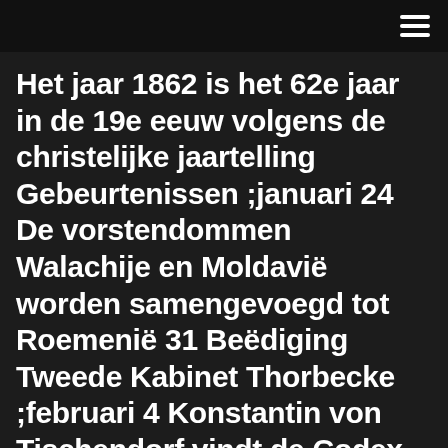≡
Het jaar 1862 is het 62e jaar in de 19e eeuw volgens de christelijke jaartelling Gebeurtenissen ;januari 24 De vorstendommen Walachije en Moldavië worden samengevoegd tot Roemenië 31 Beëdiging Tweede Kabinet Thorbecke ;februari 4 Konstantin von Tischendorf vindt de Codex Sinaiticus een 4e eeuwse Bijbeluitgave in het Katharinaklooster in de Sinaï 16